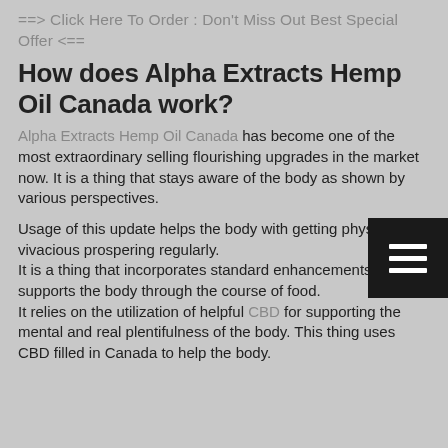==> Click Here To Order : Don't Miss Out Best Special Offer <==
How does Alpha Extracts Hemp Oil Canada work?
Alpha Extracts Hemp Oil Canada has become one of the most extraordinary selling flourishing upgrades in the market now. It is a thing that stays aware of the body as shown by various perspectives.
Usage of this update helps the body with getting physical and vivacious prospering regularly.
It is a thing that incorporates standard enhancements and supports the body through the course of food.
It relies on the utilization of helpful CBD for supporting the mental and real plentifulness of the body. This thing uses CBD filled in Canada to help the body.